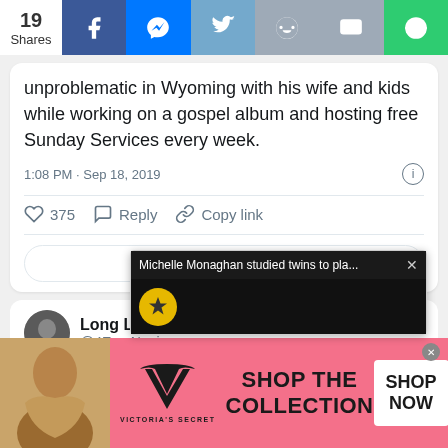19 Shares | Social share bar: Facebook, Messenger, Twitter, Reddit, SMS, other
unproblematic in Wyoming with his wife and kids while working on a gospel album and hosting free Sunday Services every week.
1:08 PM · Sep 18, 2019
375  Reply  Copy link
Read 8 replies
Long Live   @4EverNpain
[Figure (screenshot): Popup notification: Michelle Monaghan studied twins to pla... with close button, dark background with gold circle icon]
[Figure (infographic): Victoria's Secret advertisement banner: model photo, VS logo, SHOP THE COLLECTION text, SHOP NOW button on pink background]